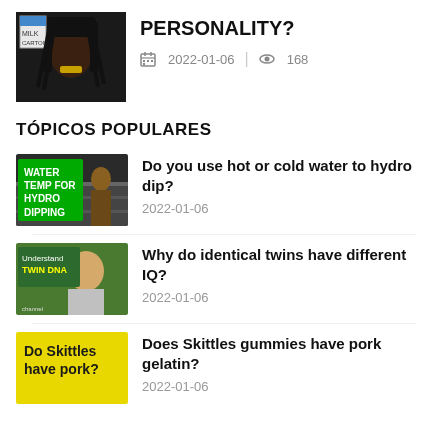[Figure (photo): Thumbnail of a person with dreadlocks and gold teeth, with a milk carton logo overlay]
PERSONALITY?
2022-01-06   168
TÓPICOS POPULARES
[Figure (photo): Thumbnail showing hydro dipping tutorial with green text overlay 'WATER TEMP FOR HYDRO DIPPING']
Do you use hot or cold water to hydro dip?
2022-01-06
[Figure (photo): Thumbnail showing a man with text 'Understand TWIN DNA']
Why do identical twins have different IQ?
2022-01-06
[Figure (photo): Yellow thumbnail with text 'Do Skittles have pork?']
Does Skittles gummies have pork gelatin?
2022-01-06